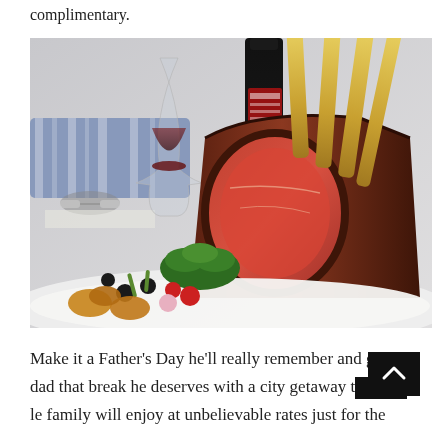complimentary.
[Figure (photo): A plate with a large rack of roasted prime rib beef with red medium-rare interior, garnished with herbs, olives, and roasted vegetables. Behind it is a glass of red wine and a dark wine bottle. In the background are striped pillows and reading glasses on a newspaper.]
Make it a Father’s Day he’ll really remember and give dad that break he deserves with a city getaway the whole family will enjoy at unbelievable rates just for the